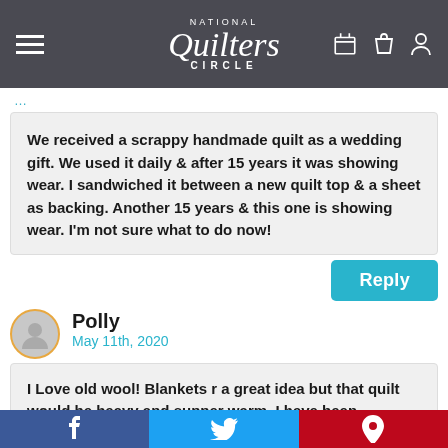National Quilters Circle
We received a scrappy handmade quilt as a wedding gift. We used it daily & after 15 years it was showing wear. I sandwiched it between a new quilt top & a sheet as backing. Another 15 years & this one is showing wear. I'm not sure what to do now!
Reply
Polly
May 11th, 2020
I Love old wool! Blankets r a great idea but that quilt would be heavy and supper warm. I have been collecting every piece of wool I can find at thrift shops BLANKETS, j…
f   t   p